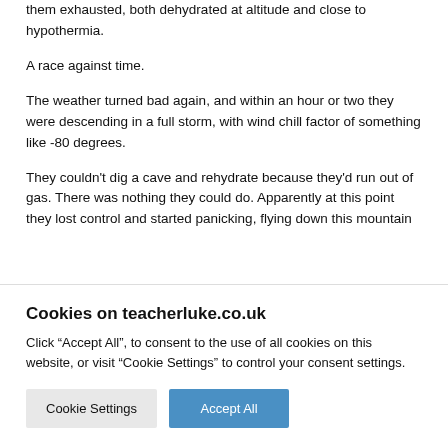them exhausted, both dehydrated at altitude and close to hypothermia.
A race against time.
The weather turned bad again, and within an hour or two they were descending in a full storm, with wind chill factor of something like -80 degrees.
They couldn't dig a cave and rehydrate because they'd run out of gas. There was nothing they could do. Apparently at this point they lost control and started panicking, flying down this mountain
Cookies on teacherluke.co.uk
Click “Accept All”, to consent to the use of all cookies on this website, or visit “Cookie Settings” to control your consent settings.